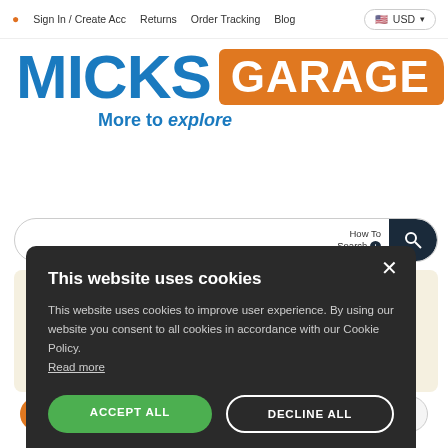Sign In / Create Acc   Returns   Order Tracking   Blog   USD
[Figure (logo): Micks Garage logo — MICKS in bold blue text, GARAGE in white on orange rounded rectangle, tagline 'More to explore' in blue italic]
How To Search
rrect parts for nt options nical Spec's to r vehicle.
This website uses cookies
This website uses cookies to improve user experience. By using our website you consent to all cookies in accordance with our Cookie Policy. Read more
ACCEPT ALL
DECLINE ALL
SHOW DETAILS